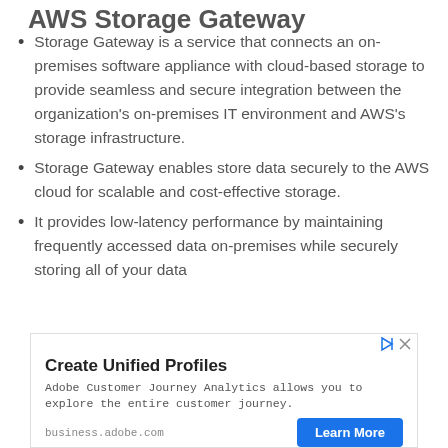AWS Storage Gateway
Storage Gateway is a service that connects an on-premises software appliance with cloud-based storage to provide seamless and secure integration between the organization's on-premises IT environment and AWS's storage infrastructure.
Storage Gateway enables store data securely to the AWS cloud for scalable and cost-effective storage.
It provides low-latency performance by maintaining frequently accessed data on-premises while securely storing all of your data
[Figure (screenshot): Advertisement banner: 'Create Unified Profiles' from Adobe Customer Journey Analytics. Includes play and close icons, body text, business.adobe.com URL, and a blue 'Learn More' button.]